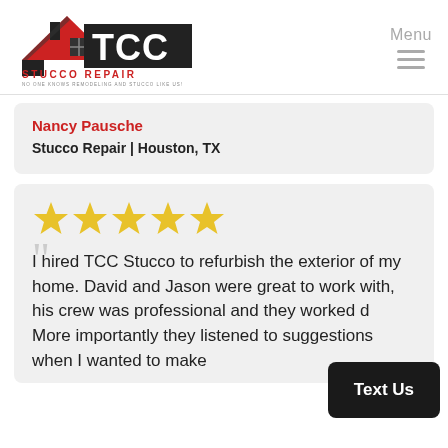[Figure (logo): TCC Stucco Repair logo with house/roof graphic in red and black, company name in bold]
Menu
Nancy Pausche
Stucco Repair | Houston, TX
[Figure (other): Five gold/yellow star rating icons]
I hired TCC Stucco to refurbish the exterior of my home. David and Jason were great to work with, his crew was professional and they worked d... More importantly they listened to suggestions when I wanted to make
Text Us